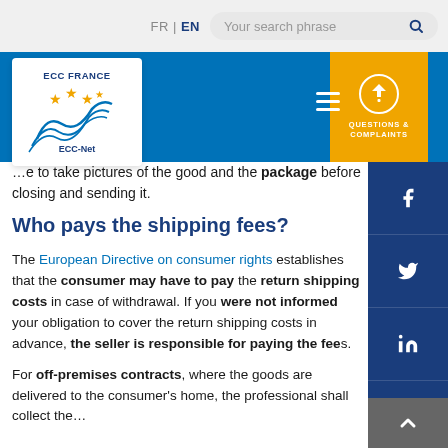FR | EN  Your search phrase
[Figure (logo): ECC France ECC-Net logo with stars and wave graphic]
[Figure (infographic): Yellow Questions & Complaints button with lightning bolt icon]
…e to take pictures of the good and the package before closing and sending it.
Who pays the shipping fees?
The European Directive on consumer rights establishes that the consumer may have to pay the return shipping costs in case of withdrawal. If you were not informed your obligation to cover the return shipping costs in advance, the seller is responsible for paying the fees.
For off-premises contracts, where the goods are delivered to the consumer's home, the professional shall collect the...